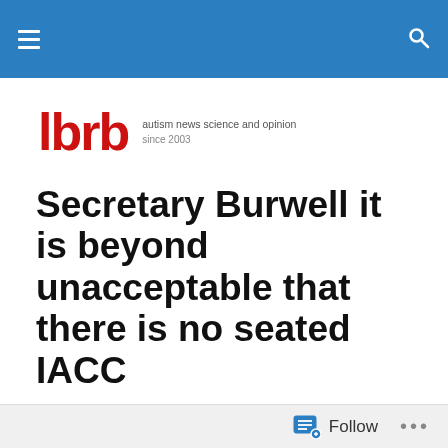lbrb — autism news science and opinion since 2003
[Figure (logo): lbrb logo in red with tagline 'autism news science and opinion since 2003']
Secretary Burwell it is beyond unacceptable that there is no seated IACC
Posted by Sullivan (Matt Carey)
In the U.S. we have a promise from our government to focus attention on autism and to include community